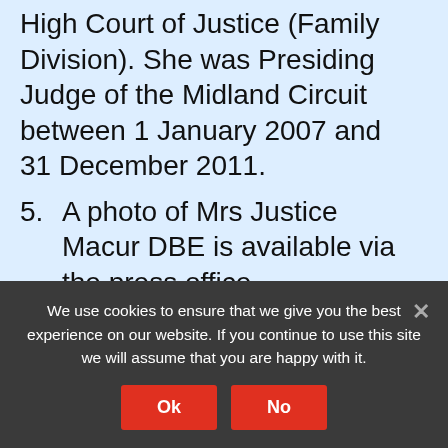High Court of Justice (Family Division). She was Presiding Judge of the Midland Circuit between 1 January 2007 and 31 December 2011.
5. A photo of Mrs Justice Macur DBE is available via the press office.
6. The Macur Review is one of two new enquiries relating to North Wales. Keith Bristow, Director General of the National Crime Agency, has been asked by the Chief Constable of North Wales to examine specific, recent allegations made in relation to historic abuse. The investigation called...
We use cookies to ensure that we give you the best experience on our website. If you continue to use this site we will assume that you are happy with it.